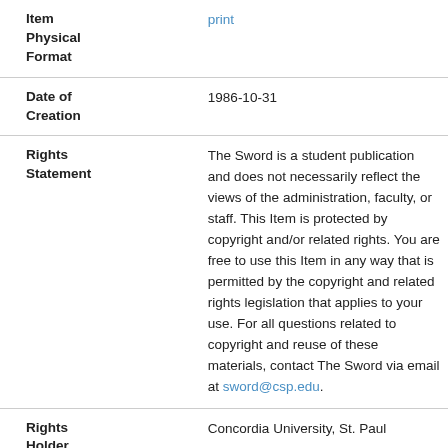| Field | Value |
| --- | --- |
| Item Physical Format | print |
| Date of Creation | 1986-10-31 |
| Rights Statement | The Sword is a student publication and does not necessarily reflect the views of the administration, faculty, or staff. This Item is protected by copyright and/or related rights. You are free to use this Item in any way that is permitted by the copyright and related rights legislation that applies to your use. For all questions related to copyright and reuse of these materials, contact The Sword via email at sword@csp.edu. |
| Rights Holder | Concordia University, St. Paul |